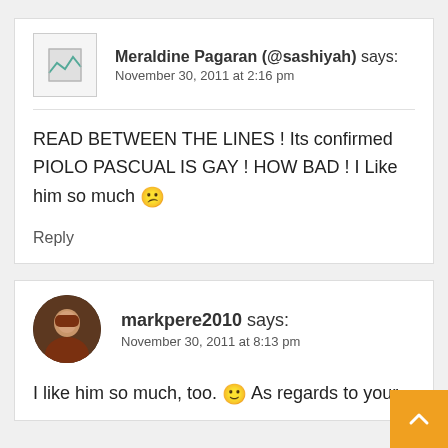Meraldine Pagaran (@sashiyah) says: November 30, 2011 at 2:16 pm
READ BETWEEN THE LINES ! Its confirmed PIOLO PASCUAL IS GAY ! HOW BAD ! I Like him so much 😕
Reply
markpere2010 says: November 30, 2011 at 8:13 pm
I like him so much, too. 🙂 As regards to your